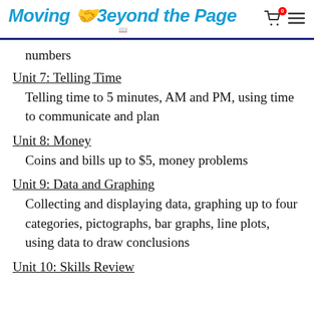Moving Beyond the Page
numbers
Unit 7: Telling Time
Telling time to 5 minutes, AM and PM, using time to communicate and plan
Unit 8: Money
Coins and bills up to $5, money problems
Unit 9: Data and Graphing
Collecting and displaying data, graphing up to four categories, pictographs, bar graphs, line plots, using data to draw conclusions
Unit 10: Skills Review